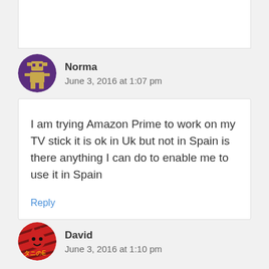[Figure (other): Top remnant of a previous comment box (white box, partially visible)]
Norma
June 3, 2016 at 1:07 pm
I am trying Amazon Prime to work on my TV stick it is ok in Uk but not in Spain is there anything I can do to enable me to use it in Spain
Reply
David
June 3, 2016 at 1:10 pm